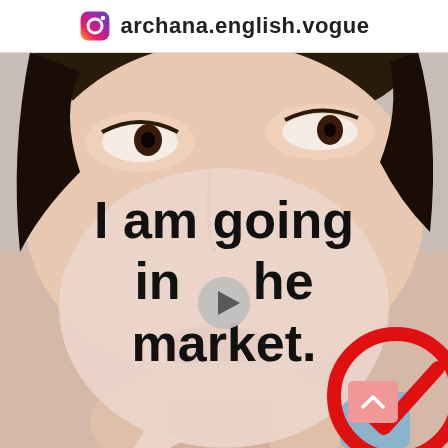archana.english.vogue
[Figure (photo): Close-up of a person's face (Asian male) with eyes looking sideways, used as background for an English language learning Instagram post]
I am going in the market.